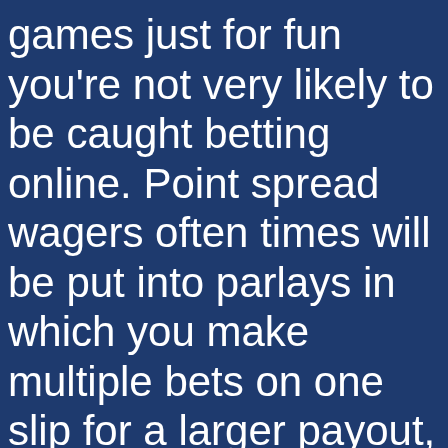games just for fun you're not very likely to be caught betting online. Point spread wagers often times will be put into parlays in which you make multiple bets on one slip for a larger payout, valkyrie slot online real money no deposit bonus the largest.